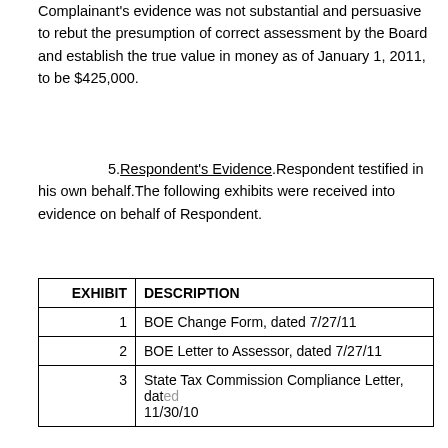Complainant's evidence was not substantial and persuasive to rebut the presumption of correct assessment by the Board and establish the true value in money as of January 1, 2011, to be $425,000.
5. Respondent's Evidence. Respondent testified in his own behalf. The following exhibits were received into evidence on behalf of Respondent.
| EXHIBIT | DESCRIPTION |
| --- | --- |
| 1 | BOE Change Form, dated 7/27/11 |
| 2 | BOE Letter to Assessor, dated 7/27/11 |
| 3 | State Tax Commission Compliance Letter, dated 11/30/10 |
| 4 | Property Record Card, Subject property from... |